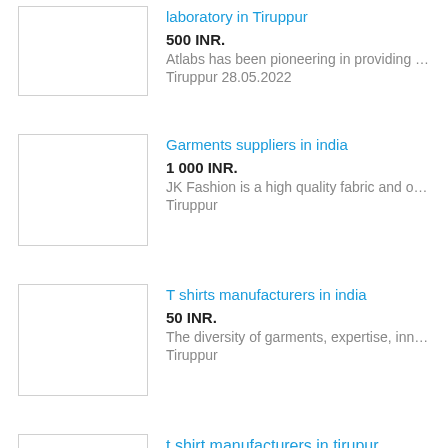laboratory in Tiruppur | 500 INR. | Atlabs has been pioneering in providing … | Tiruppur 28.05.2022
Garments suppliers in india | 1 000 INR. | JK Fashion is a high quality fabric and o… | Tiruppur
T shirts manufacturers in india | 50 INR. | The diversity of garments, expertise, inn… | Tiruppur
t shirt manufacturers in tirupur india